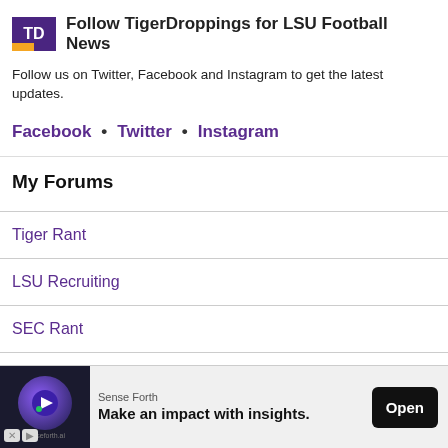Follow TigerDroppings for LSU Football News
Follow us on Twitter, Facebook and Instagram to get the latest updates.
Facebook • Twitter • Instagram
My Forums
Tiger Rant
LSU Recruiting
SEC Rant
Saints Talk
[Figure (other): Advertisement banner: Sense Forth - Make an impact with insights. Open button.]